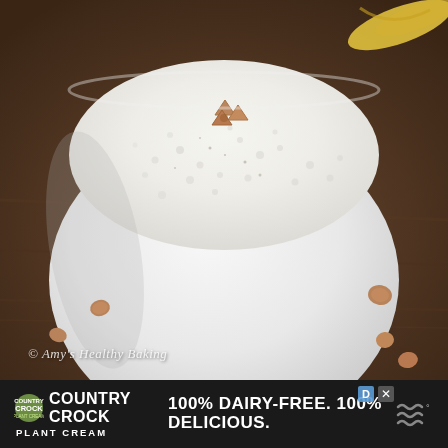[Figure (photo): A white bowl filled with creamy oatmeal or rice pudding topped with a few cinnamon chips, sitting on a dark wooden surface with scattered chips around it and a banana visible in the upper right corner. Watermark reads '© Amy's Healthy Baking'.]
[Figure (infographic): Advertisement banner for Country Crock Plant Cream with text '100% DAIRY-FREE. 100% DELICIOUS.' on a dark background with logo and icons.]